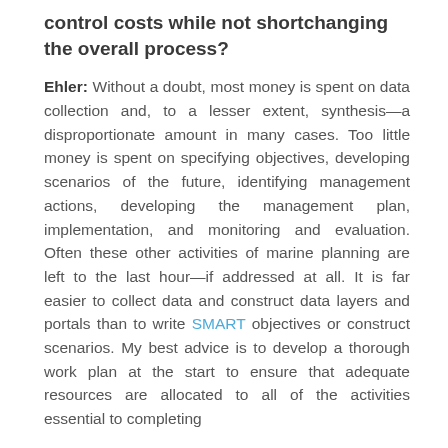control costs while not shortchanging the overall process?
Ehler: Without a doubt, most money is spent on data collection and, to a lesser extent, synthesis—a disproportionate amount in many cases. Too little money is spent on specifying objectives, developing scenarios of the future, identifying management actions, developing the management plan, implementation, and monitoring and evaluation. Often these other activities of marine planning are left to the last hour—if addressed at all. It is far easier to collect data and construct data layers and portals than to write SMART objectives or construct scenarios. My best advice is to develop a thorough work plan at the start to ensure that adequate resources are allocated to all of the activities essential to completing